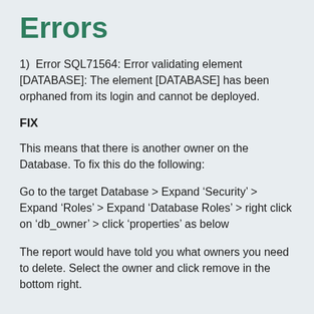Errors
1)  Error SQL71564: Error validating element [DATABASE]: The element [DATABASE] has been orphaned from its login and cannot be deployed.
FIX
This means that there is another owner on the Database. To fix this do the following:
Go to the target Database > Expand ‘Security’ > Expand ‘Roles’ > Expand ‘Database Roles’ > right click on ‘db_owner’ > click ‘properties’ as below
The report would have told you what owners you need to delete. Select the owner and click remove in the bottom right.